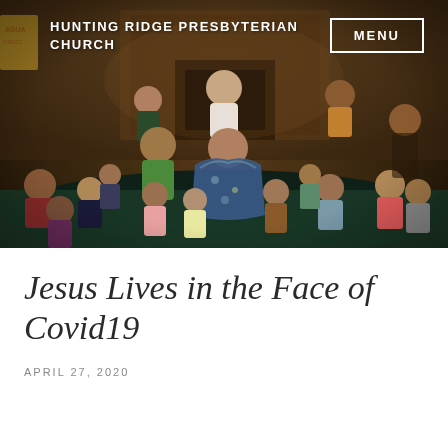HUNTING RIDGE PRESBYTERIAN CHURCH
[Figure (photo): Group photo inside a church hall showing an adult woman in a patterned blue dress sitting and speaking to a large group of children seated on the floor, with other adults seated in chairs behind them. The setting appears to be a church fellowship or Sunday school gathering.]
Jesus Lives in the Face of Covid19
APRIL 27, 2020